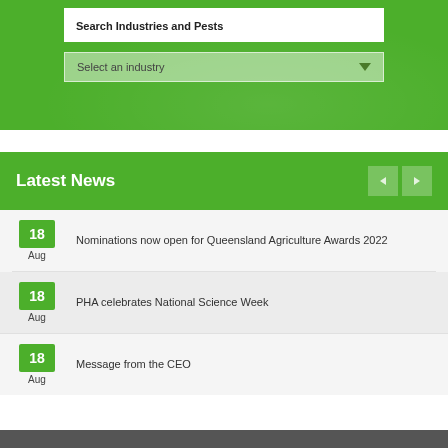Search Industries and Pests
Select an industry
Latest News
18 Aug - Nominations now open for Queensland Agriculture Awards 2022
18 Aug - PHA celebrates National Science Week
18 Aug - Message from the CEO